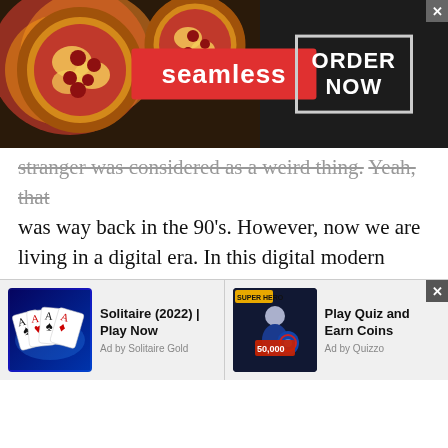[Figure (screenshot): Seamless food delivery advertisement banner with pizza image on left, Seamless logo in red rectangle in center, and ORDER NOW in white box on right against dark background]
stranger was considered as a weird thing. Yeah, that was way back in the 90's. However, now we are living in a digital era. In this digital modern world, every other thing is connected. In this world, there is no such thing as impossible. Everything can happen. So, for instance, if you are suffering from anxiety, depression, or simply just want to vent out to someone. And you believe that your chat with friends or family members cause fun to your sufferings. Then talking to a stranger is the only option left.
[Figure (screenshot): Bottom advertisement bar with two ads: 'Solitaire (2022) | Play Now' by Solitaire Gold on left with playing cards image, and 'Play Quiz and Earn Coins' by Quizzo on right with superhero image]